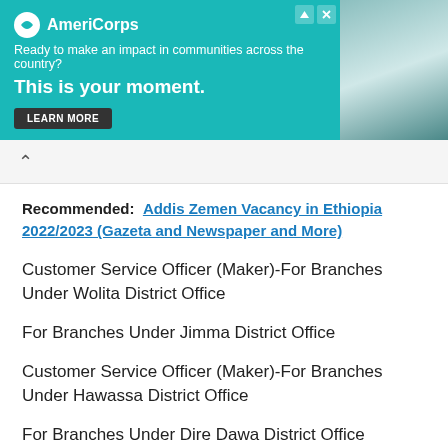[Figure (infographic): AmeriCorps advertisement banner with teal background. Logo shows AmeriCorps name with icon. Text reads: 'Ready to make an impact in communities across the country? This is your moment.' with a LEARN MORE button. Right side shows a photo of a person.]
Recommended:  Addis Zemen Vacancy in Ethiopia 2022/2023 (Gazeta and Newspaper and More)
Customer Service Officer (Maker)-For Branches Under Wolita District Office
For Branches Under Jimma District Office
Customer Service Officer (Maker)-For Branches Under Hawassa District Office
For Branches Under Dire Dawa District Office